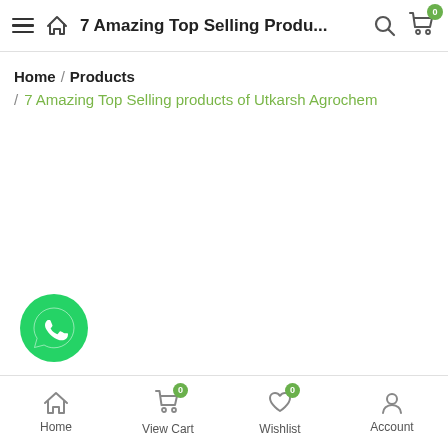7 Amazing Top Selling Produ...
Home / Products / 7 Amazing Top Selling products of Utkarsh Agrochem
[Figure (logo): WhatsApp green circle icon with phone handset]
Home  View Cart  Wishlist  Account